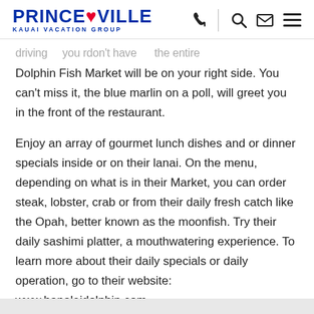PRINCE♥VILLE KAUAI VACATION GROUP
...driving ... you rdon't have ... the entire Dolphin Fish Market will be on your right side. You can't miss it, the blue marlin on a poll, will greet you in the front of the restaurant.
Enjoy an array of gourmet lunch dishes and or dinner specials inside or on their lanai. On the menu, depending on what is in their Market, you can order steak, lobster, crab or from their daily fresh catch like the Opah, better known as the moonfish. Try their daily sashimi platter, a mouthwatering experience. To learn more about their daily specials or daily operation, go to their website: www.hanaleidolphin.com